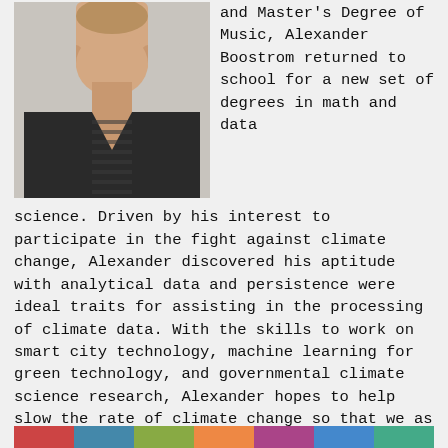[Figure (photo): Headshot photo of a young man wearing a dark striped v-neck shirt, facing the camera against a light background.]
and Master's Degree of Music, Alexander Boostrom returned to school for a new set of degrees in math and data science. Driven by his interest to participate in the fight against climate change, Alexander discovered his aptitude with analytical data and persistence were ideal traits for assisting in the processing of climate data. With the skills to work on smart city technology, machine learning for green technology, and governmental climate science research, Alexander hopes to help slow the rate of climate change so that we as a society can adapt, protect the people of the world, and secure a safe future.
[Figure (photo): Partial colorful group photo visible at the bottom edge of the page.]